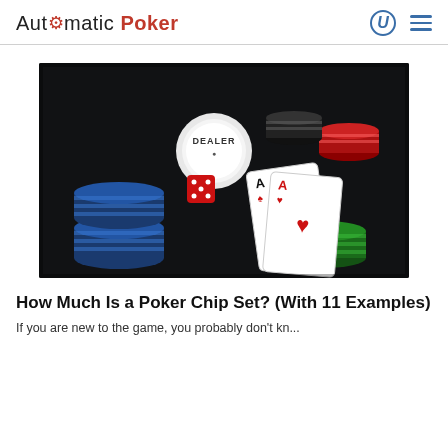Automatic Poker
[Figure (photo): Poker chip set in a case with blue, green, red and black chips, a dealer button, red dice, and two playing cards showing aces]
How Much Is a Poker Chip Set? (With 11 Examples)
If you are new to the game, you probably don't kn...